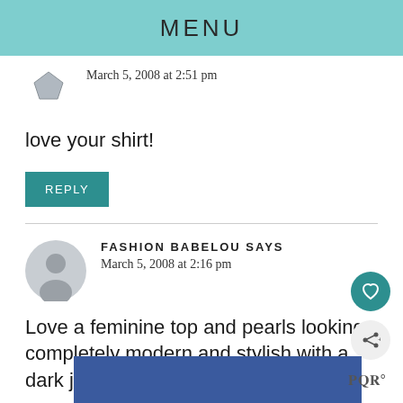MENU
March 5, 2008 at 2:51 pm
love your shirt!
REPLY
FASHION BABELOU SAYS
March 5, 2008 at 2:16 pm
Love a feminine top and pearls looking completely modern and stylish with a dark je